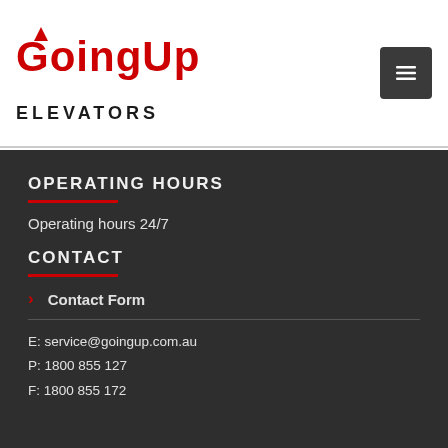[Figure (logo): GoingUp Elevators logo with red text and upward arrow, on white background header]
OPERATING HOURS
Operating hours 24/7
CONTACT
Contact Form
E: service@goingup.com.au
P: 1800 855 127
F: 1800 855 172